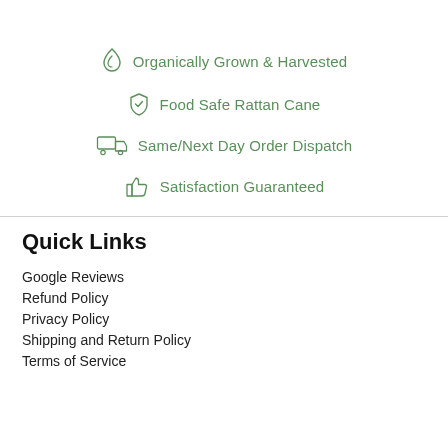Organically Grown & Harvested
Food Safe Rattan Cane
Same/Next Day Order Dispatch
Satisfaction Guaranteed
Quick Links
Google Reviews
Refund Policy
Privacy Policy
Shipping and Return Policy
Terms of Service